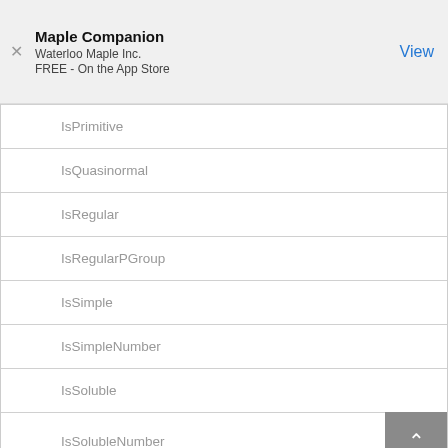Maple Companion
Waterloo Maple Inc.
FREE - On the App Store
IsPrimitive
IsQuasinormal
IsRegular
IsRegularPGroup
IsSimple
IsSimpleNumber
IsSoluble
IsSolubleNumber
IsSolvable